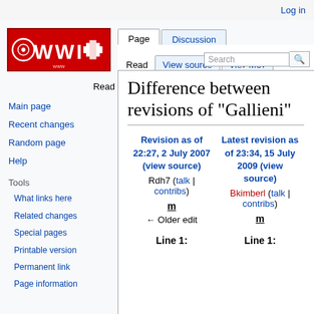Log in
[Figure (logo): WWI wiki logo — red background with white WWI text and iron cross]
Difference between revisions of "Gallieni"
| Revision as of 22:27, 2 July 2007 (view source) | Latest revision as of 23:34, 15 July 2009 (view source) |
| --- | --- |
| Rdh7 (talk | contribs) | Bkimberl (talk | contribs) |
| m | m |
| ← Older edit |  |
| Line 1: | Line 1: |
Main page
Recent changes
Random page
Help
Tools
What links here
Related changes
Special pages
Printable version
Permanent link
Page information